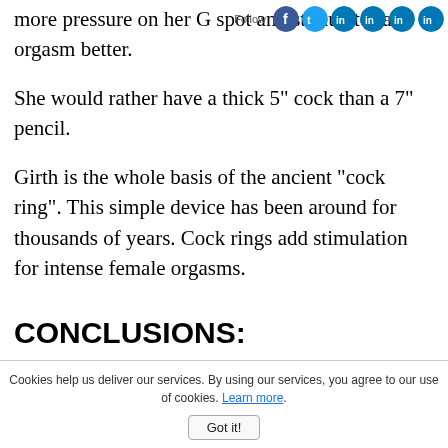more pressure on her G spot and stimulates an orgasm better.
[Figure (other): Social media follow buttons: Follow label with Facebook, Twitter, and LinkedIn circular icons]
She would rather have a thick 5" cock than a 7" pencil.
Girth is the whole basis of the ancient "cock ring". This simple device has been around for thousands of years. Cock rings add stimulation for intense female orgasms.
CONCLUSIONS:
1)  A penis enlargement pill is really only a sexual
Cookies help us deliver our services. By using our services, you agree to our use of cookies. Learn more. Got it!